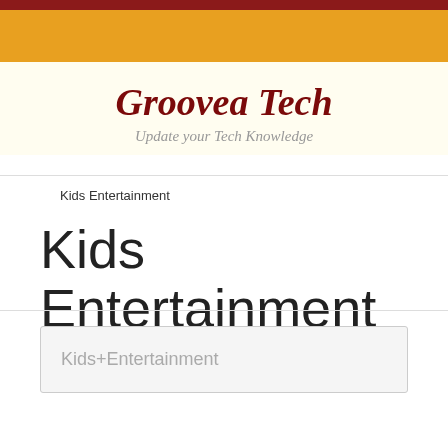Groovea Tech – Update your Tech Knowledge
Kids Entertainment
Kids Entertainment
Kids+Entertainment